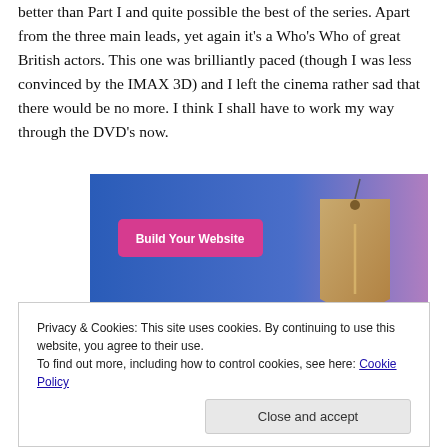better than Part I and quite possible the best of the series. Apart from the three main leads, yet again it's a Who's Who of great British actors. This one was brilliantly paced (though I was less convinced by the IMAX 3D) and I left the cinema rather sad that there would be no more. I think I shall have to work my way through the DVD's now.
[Figure (screenshot): Advertisement banner showing 'Build Your Website' button on a blue-to-purple gradient background with a hanging price tag illustration]
Privacy & Cookies: This site uses cookies. By continuing to use this website, you agree to their use.
To find out more, including how to control cookies, see here: Cookie Policy
Close and accept